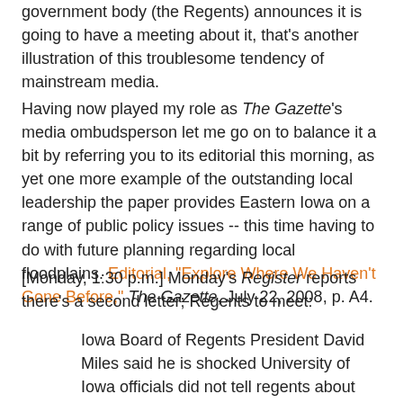government body (the Regents) announces it is going to have a meeting about it, that's another illustration of this troublesome tendency of mainstream media.
Having now played my role as The Gazette's media ombudsperson let me go on to balance it a bit by referring you to its editorial this morning, as yet one more example of the outstanding local leadership the paper provides Eastern Iowa on a range of public policy issues -- this time having to do with future planning regarding local floodplains. Editorial, "Explore Where We Haven't Gone Before," The Gazette, July 22, 2008, p. A4.
[Monday, 1:30 p.m.] Monday's Register reports there's a second letter; Regents to meet:
Iowa Board of Regents President David Miles said he is shocked University of Iowa officials did not tell regents about letters they received from the mother of a U of I student who alleges she